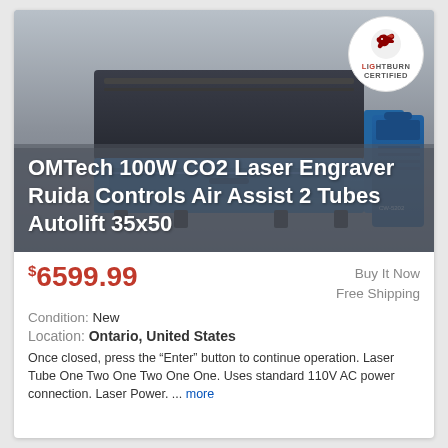[Figure (logo): LightBurn Certified badge — circular white badge with red dragon logo and text LIGHTBURN CERTIFIED]
[Figure (photo): OMTech 100W CO2 laser engraver machine in blue and black with chiller unit on right side, on grey gradient background]
OMTech 100W CO2 Laser Engraver Ruida Controls Air Assist 2 Tubes Autolift 35x50
$6599.99
Buy It Now
Free Shipping
Condition: New
Location: Ontario, United States
Once closed, press the “Enter” button to continue operation. Laser Tube One Two One Two One One. Uses standard 110V AC power connection. Laser Power. ... more